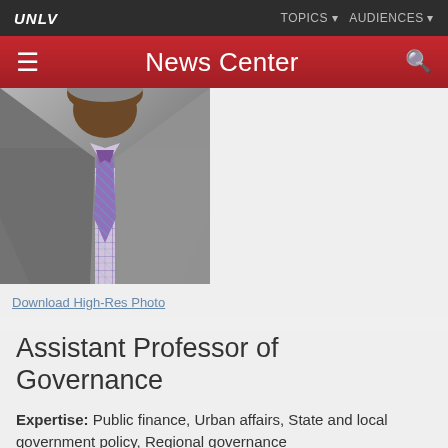UNLV  TOPICS  AUDIENCES
News Center
[Figure (photo): Portrait photo of a man in a grey suit jacket with a plaid shirt and purple/blue plaid tie, cropped at the chest level]
Download High-Res Photo
Assistant Professor of Governance
Expertise: Public finance, Urban affairs, State and local government policy, Regional governance
BIOGRAPHY
James Frome is an assistant professor in the School...